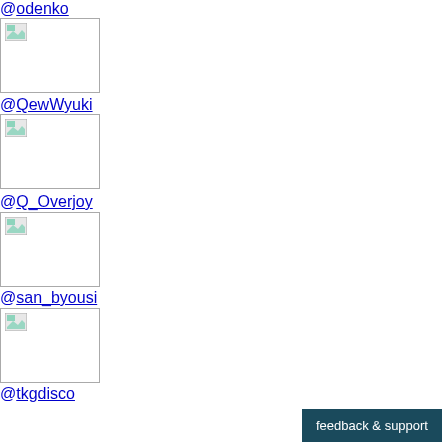@odenko
[Figure (photo): Broken image placeholder for @odenko]
@QewWyuki
[Figure (photo): Broken image placeholder for @QewWyuki]
@Q_Overjoy
[Figure (photo): Broken image placeholder for @Q_Overjoy]
@san_byousi
[Figure (photo): Broken image placeholder for @san_byousi]
@tkgdisco
[Figure (photo): Broken image placeholder for @tkgdisco]
@touka_tt
[Figure (photo): Broken image placeholder for @touka_tt]
@_SHIRIA_
No (2)
feedback & support